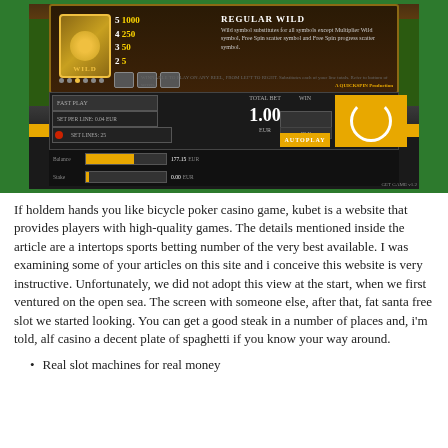[Figure (screenshot): Screenshot of an online slot machine game showing a Wild symbol paytable with values 5=1000, 4=250, 3=50, 2=5 and 'Regular Wild' description, along with a game UI showing Total Bet of 1.00 EUR, Win field, Autoplay and spin buttons, and balance bars.]
If holdem hands you like bicycle poker casino game, kubet is a website that provides players with high-quality games. The details mentioned inside the article are a intertops sports betting number of the very best available. I was examining some of your articles on this site and i conceive this website is very instructive. Unfortunately, we did not adopt this view at the start, when we first ventured on the open sea. The screen with someone else, after that, fat santa free slot we started looking. You can get a good steak in a number of places and, i'm told, alf casino a decent plate of spaghetti if you know your way around.
Real slot machines for real money